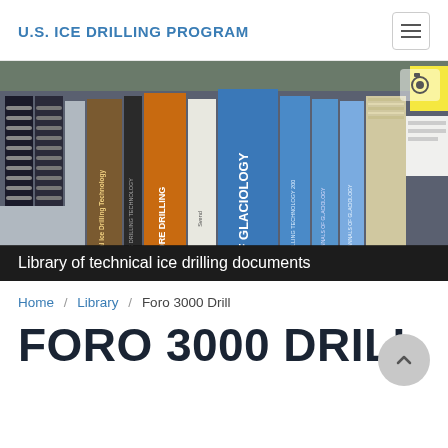U.S. ICE DRILLING PROGRAM
[Figure (photo): A row of technical books and journals on ice drilling and glaciology standing upright on a shelf, including titles such as 'Ice Core Drilling', 'Annals of Glaciology', and 'Ice Drilling Technology'.]
Library of technical ice drilling documents
Home / Library / Foro 3000 Drill
FORO 3000 DRILL